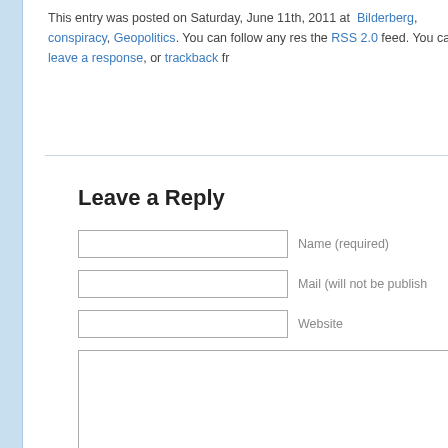This entry was posted on Saturday, June 11th, 2011 at Bilderberg, conspiracy, Geopolitics. You can follow any res the RSS 2.0 feed. You can leave a response, or trackback fr
Leave a Reply
Name (required)
Mail (will not be publish
Website
fantompowa geopolitical infonation is proudly pow Entries (RSS) and Comments (RS